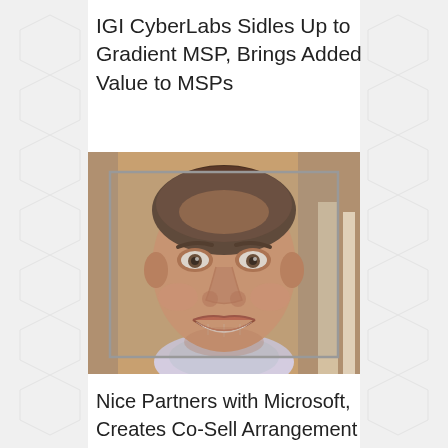IGI CyberLabs Sidles Up to Gradient MSP, Brings Added Value to MSPs
[Figure (photo): Headshot of a smiling middle-aged man with short brown hair, wearing a light-colored shirt, with a gray-bordered rectangular frame overlay on the photo.]
Nice Partners with Microsoft, Creates Co-Sell Arrangement